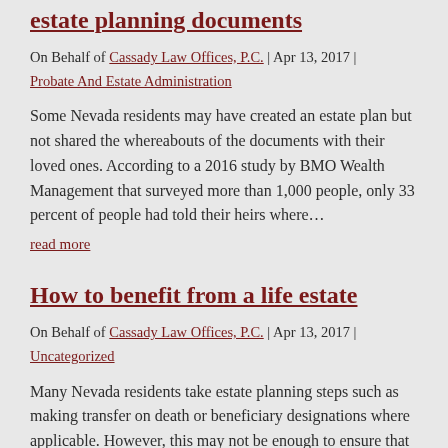estate planning documents
On Behalf of Cassady Law Offices, P.C. | Apr 13, 2017 | Probate And Estate Administration
Some Nevada residents may have created an estate plan but not shared the whereabouts of the documents with their loved ones. According to a 2016 study by BMO Wealth Management that surveyed more than 1,000 people, only 33 percent of people had told their heirs where…
read more
How to benefit from a life estate
On Behalf of Cassady Law Offices, P.C. | Apr 13, 2017 | Uncategorized
Many Nevada residents take estate planning steps such as making transfer on death or beneficiary designations where applicable. However, this may not be enough to ensure that a person's home is handled according to his or